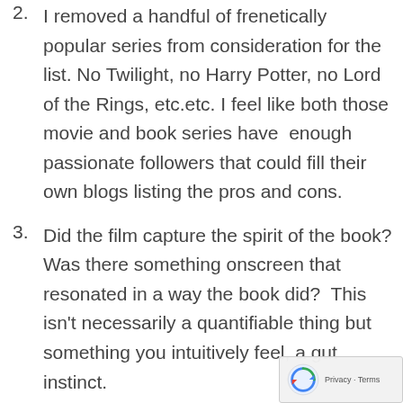2. I removed a handful of frenetically popular series from consideration for the list. No Twilight, no Harry Potter, no Lord of the Rings, etc.etc. I feel like both those movie and book series have  enough passionate followers that could fill their own blogs listing the pros and cons.
3. Did the film capture the spirit of the book? Was there something onscreen that resonated in a way the book did?  This isn't necessarily a quantifiable thing but something you intuitively feel, a gut instinct.
4. Did the film improve on the book? Was visual storytelling superior to the written...